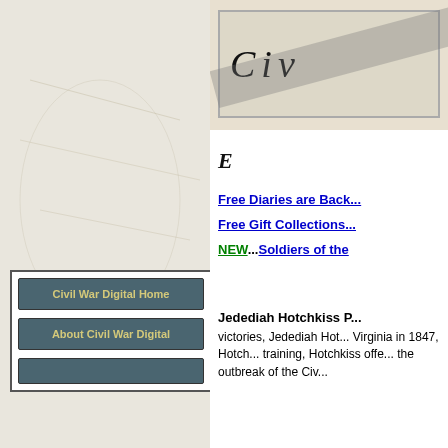[Figure (illustration): Left decorative column with aged map/parchment background texture and diagonal gray stripe]
[Figure (illustration): Civil War Digital website banner with partial text 'Civ' visible in italic serif font over parchment background with diagonal stripe]
E
Free Diaries are Back...
Free Gift Collections...
NEW...Soldiers of the
Jedediah Hotchkiss P... victories, Jedediah Hot... Virginia in 1847, Hotch... training, Hotchkiss offe... the outbreak of the Civ...
Civil War Digital Home
About Civil War Digital